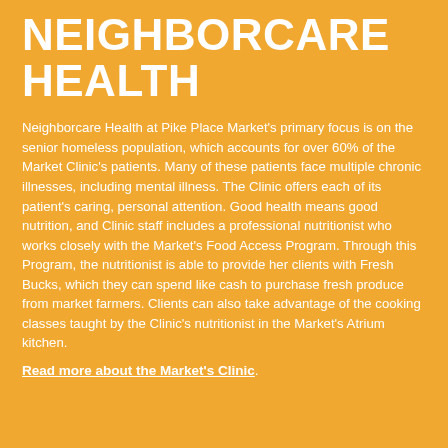NEIGHBORCARE HEALTH
Neighborcare Health at Pike Place Market's primary focus is on the senior homeless population, which accounts for over 60% of the Market Clinic's patients. Many of these patients face multiple chronic illnesses, including mental illness. The Clinic offers each of its patient's caring, personal attention. Good health means good nutrition, and Clinic staff includes a professional nutritionist who works closely with the Market's Food Access Program. Through this Program, the nutritionist is able to provide her clients with Fresh Bucks, which they can spend like cash to purchase fresh produce from market farmers. Clients can also take advantage of the cooking classes taught by the Clinic's nutritionist in the Market's Atrium kitchen.
Read more about the Market's Clinic.